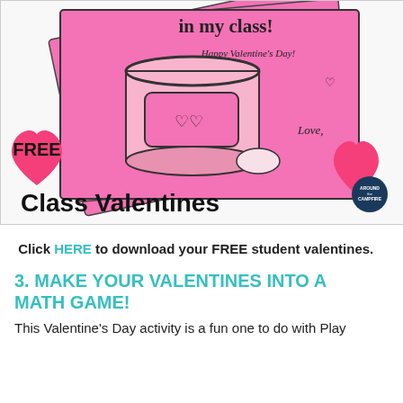[Figure (photo): Pink Valentine's Day cards with a Play-Doh can illustration, decorated with pink hearts, FREE label, and 'Class Valentines' text with Around the Campfire logo badge.]
Click HERE to download your FREE student valentines.
3. MAKE YOUR VALENTINES INTO A MATH GAME!
This Valentine's Day activity is a fun one to do with Play